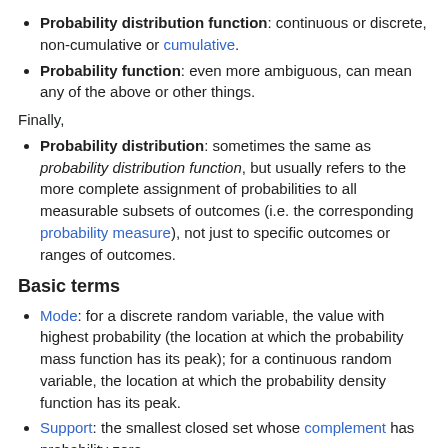Probability distribution function: continuous or discrete, non-cumulative or cumulative.
Probability function: even more ambiguous, can mean any of the above or other things.
Finally,
Probability distribution: sometimes the same as probability distribution function, but usually refers to the more complete assignment of probabilities to all measurable subsets of outcomes (i.e. the corresponding probability measure), not just to specific outcomes or ranges of outcomes.
Basic terms
Mode: for a discrete random variable, the value with highest probability (the location at which the probability mass function has its peak); for a continuous random variable, the location at which the probability density function has its peak.
Support: the smallest closed set whose complement has probability zero.
Head: the range of values where the pmf or pdf is relatively